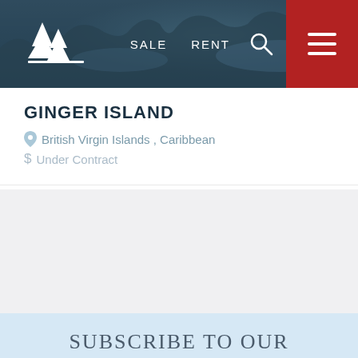[Figure (screenshot): Navigation bar with logo (pine tree silhouette), SALE and RENT links, search icon, and red hamburger menu button, overlaid on a dark blue-green ocean/cliff hero photo]
GINGER ISLAND
British Virgin Islands , Caribbean
$ Under Contract
SUBSCRIBE TO OUR NEWSLETTER
To Subscribe to this mailing and receive future emails, fill out the form below and click Submit.